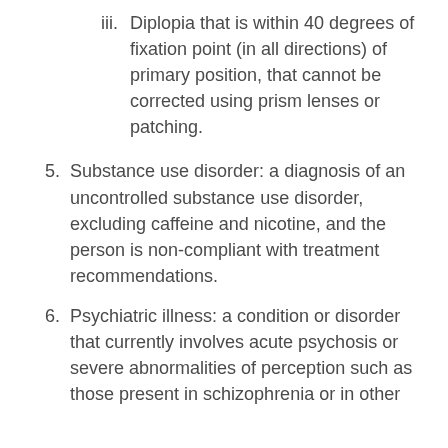iii. Diplopia that is within 40 degrees of fixation point (in all directions) of primary position, that cannot be corrected using prism lenses or patching.
5. Substance use disorder: a diagnosis of an uncontrolled substance use disorder, excluding caffeine and nicotine, and the person is non-compliant with treatment recommendations.
6. Psychiatric illness: a condition or disorder that currently involves acute psychosis or severe abnormalities of perception such as those present in schizophrenia or in other